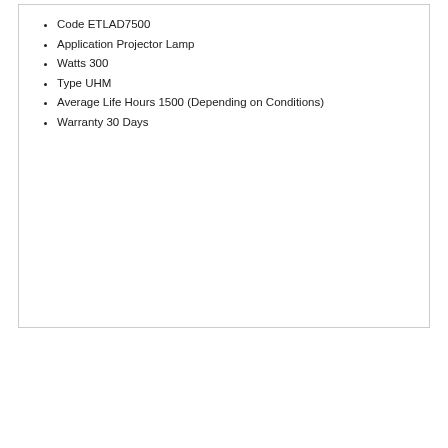Code ETLAD7500
Application Projector Lamp
Watts 300
Type UHM
Average Life Hours 1500 (Depending on Conditions)
Warranty 30 Days